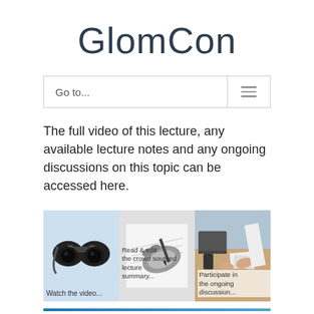GlomCon
Go to...
The full video of this lecture, any available lecture notes and any ongoing discussions on this topic can be accessed here.
[Figure (screenshot): Three-panel image strip showing: (1) binoculars on light blue background labeled 'Watch the video...', (2) black-and-white photo of hand writing labeled 'Read & edit the crowd sourced lecture summary...', (3) overhead photo of people collaborating at a desk labeled 'Participate in the ongoing discussion...']
[Figure (photo): Partial blue-tinted image at bottom of page, partially visible]